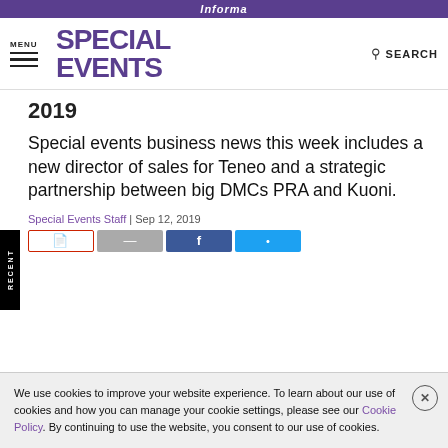Informa
MENU  SPECIAL EVENTS  SEARCH
2019
Special events business news this week includes a new director of sales for Teneo and a strategic partnership between big DMCs PRA and Kuoni.
Special Events Staff | Sep 12, 2019
We use cookies to improve your website experience. To learn about our use of cookies and how you can manage your cookie settings, please see our Cookie Policy. By continuing to use the website, you consent to our use of cookies.